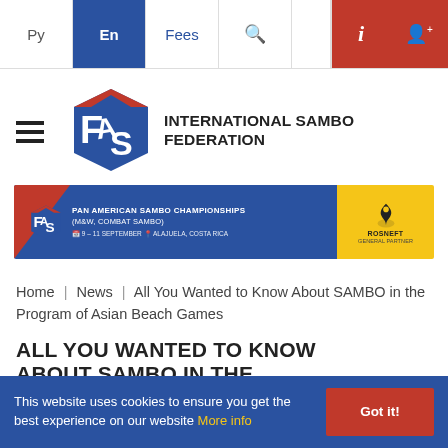Ру  En  Fees  [search]  [i]  [user+]
[Figure (logo): FIAS International Sambo Federation logo with red and blue hexagonal design]
INTERNATIONAL SAMBO FEDERATION
[Figure (infographic): Banner for Pan American Sambo Championships (M&W, Combat Sambo), 9-11 September, Alajuela, Costa Rica. Sponsored by Rosneft General Partner.]
Home | News | All You Wanted to Know About SAMBO in the Program of Asian Beach Games
ALL YOU WANTED TO KNOW ABOUT SAMBO IN THE
This website uses cookies to ensure you get the best experience on our website More info  Got it!